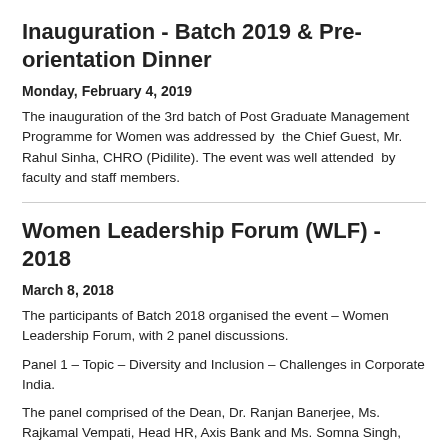Inauguration - Batch 2019 & Pre-orientation Dinner
Monday, February 4, 2019
The inauguration of the 3rd batch of Post Graduate Management Programme for Women was addressed by the Chief Guest, Mr. Rahul Sinha, CHRO (Pidilite). The event was well attended by faculty and staff members.
Women Leadership Forum (WLF) - 2018
March 8, 2018
The participants of Batch 2018 organised the event – Women Leadership Forum, with 2 panel discussions.
Panel 1 – Topic – Diversity and Inclusion – Challenges in Corporate India.
The panel comprised of the Dean, Dr. Ranjan Banerjee, Ms. Rajkamal Vempati, Head HR, Axis Bank and Ms. Somna Singh, Country Head, Bank of America, Merill Lynch. The discussion